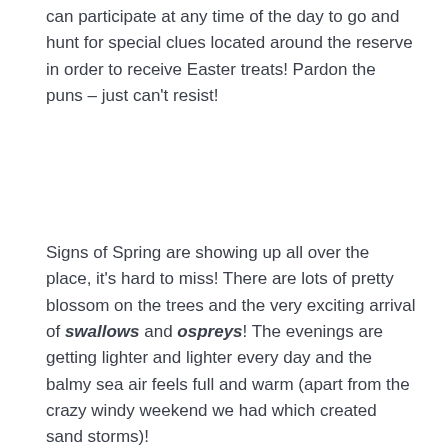can participate at any time of the day to go and hunt for special clues located around the reserve in order to receive Easter treats! Pardon the puns – just can't resist!
Signs of Spring are showing up all over the place, it's hard to miss! There are lots of pretty blossom on the trees and the very exciting arrival of swallows and ospreys! The evenings are getting lighter and lighter every day and the balmy sea air feels full and warm (apart from the crazy windy weekend we had which created sand storms)!